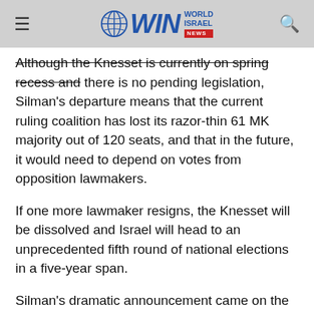WIN World Israel News
Although the Knesset is currently on spring recess and there is no pending legislation, Silman's departure means that the current ruling coalition has lost its razor-thin 61 MK majority out of 120 seats, and that in the future, it would need to depend on votes from opposition lawmakers.
If one more lawmaker resigns, the Knesset will be dissolved and Israel will head to an unprecedented fifth round of national elections in a five-year span.
Silman's dramatic announcement came on the heels of a highly publicized spat with Health Minister Nitzan Horowitz over the issue of visitors bringing chametz (unleavened bread products) into public hospitals during the Passover holiday.
The disagreement stemmed from Horowitz ordering hospitals to respect a Supreme Court decision permitting